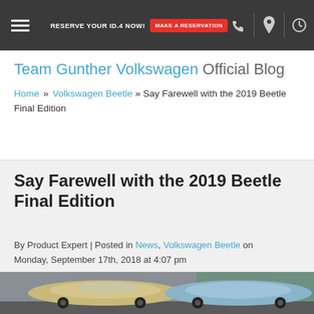RESERVE YOUR ID.4 NOW! MAKE A RESERVATION
Team Gunther Volkswagen Official Blog
Home » Volkswagen Beetle » Say Farewell with the 2019 Beetle Final Edition
Say Farewell with the 2019 Beetle Final Edition
By Product Expert | Posted in News, Volkswagen Beetle on Monday, September 17th, 2018 at 4:07 pm
[Figure (photo): Two Volkswagen Beetle convertibles parked side by side on a street — one tan/gold colored and one light blue, both with tops down, with a brick building in the background.]